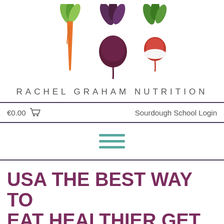[Figure (logo): Rachel Graham Nutrition logo with three illustrated vegetables (carrot, beetroot, radish) above the brand name text]
RACHEL GRAHAM NUTRITION
€0.00  🛒   Sourdough School Login
[Figure (infographic): Hamburger menu icon — three teal horizontal lines]
USA THE BEST WAY TO EAT HEALTHIER GET ORGANISED & GAIN